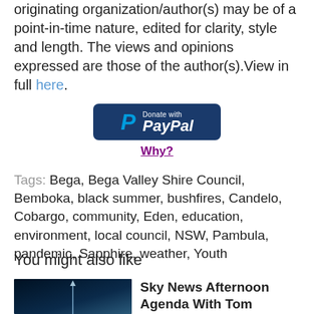originating organization/author(s) may be of a point-in-time nature, edited for clarity, style and length. The views and opinions expressed are those of the author(s).View in full here.
[Figure (other): PayPal donation button with blue background and PayPal logo]
Why?
Tags: Bega, Bega Valley Shire Council, Bemboka, black summer, bushfires, Candelo, Cobargo, community, Eden, education, environment, local council, NSW, Pambula, pandemic, Sapphire, weather, Youth
You might also like
Sky News Afternoon Agenda With Tom Connell